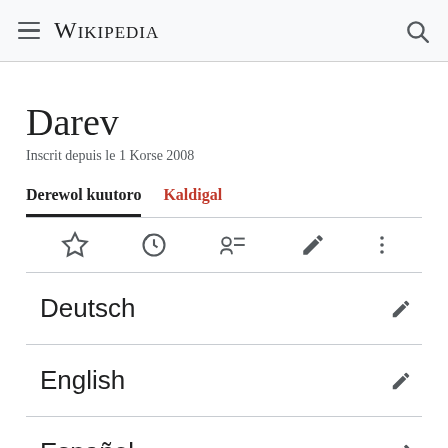Wikipedia
Darev
Inscrit depuis le 1 Korse 2008
Derewol kuutoro  Kaldigal
Deutsch
English
Español
Français (partial)